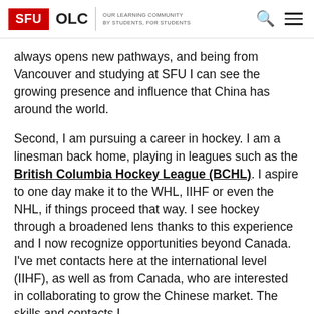SFU OLC | OUR LEARNING COMMUNITY BY STUDENTS, FOR STUDENTS
always opens new pathways, and being from Vancouver and studying at SFU I can see the growing presence and influence that China has around the world.
Second, I am pursuing a career in hockey. I am a linesman back home, playing in leagues such as the British Columbia Hockey League (BCHL). I aspire to one day make it to the WHL, IIHF or even the NHL, if things proceed that way. I see hockey through a broadened lens thanks to this experience and I now recognize opportunities beyond Canada. I've met contacts here at the international level (IIHF), as well as from Canada, who are interested in collaborating to grow the Chinese market. The skills and contacts I